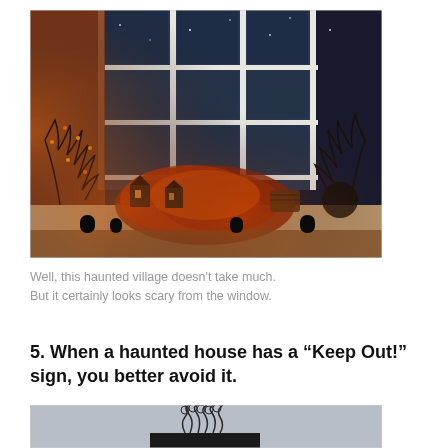[Figure (photo): A Halloween haunted village display on a windowsill with orange string lights, dark bare branches, orange and red foliage, small lanterns and miniature houses, set against a large multi-pane window showing a dark night sky outside.]
Well, this haunted village doesn't take much. But it certainly looks scary from the window.
5. When a haunted house has a “Keep Out!” sign, you better avoid it.
[Figure (photo): Bottom portion of a Halloween decoration photo showing a dark background with curly wire/metal decorative elements visible at the top of the frame, partially cropped.]